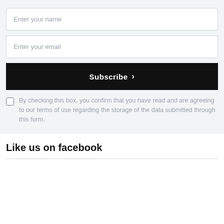Enter your name
Enter your email
Subscribe ›
By checking this box, you confirm that you have read and are agreeing to our terms of use regarding the storage of the data submitted through this form.
Like us on facebook